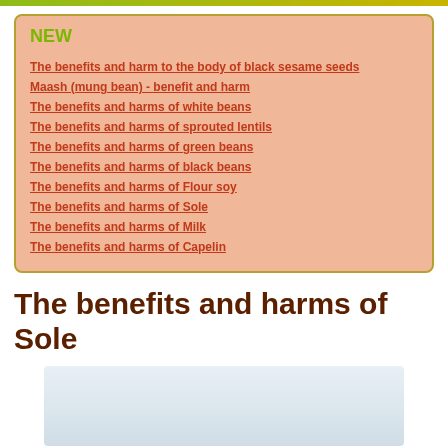NEW
The benefits and harm to the body of black sesame seeds
Maash (mung bean) - benefit and harm
The benefits and harms of white beans
The benefits and harms of sprouted lentils
The benefits and harms of green beans
The benefits and harms of black beans
The benefits and harms of Flour soy
The benefits and harms of Sole
The benefits and harms of Milk
The benefits and harms of Capelin
The benefits and harms of Sole
[Figure (photo): Photo of a sole fish, light bluish-grey background]